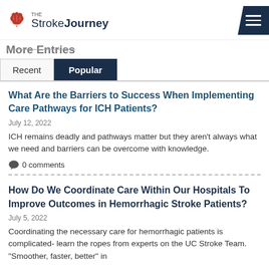The Stroke Journey
More Entries
Recent | Popular (tabs)
What Are the Barriers to Success When Implementing Care Pathways for ICH Patients?
July 12, 2022
ICH remains deadly and pathways matter but they aren't always what we need and barriers can be overcome with knowledge.
0 comments
How Do We Coordinate Care Within Our Hospitals To Improve Outcomes in Hemorrhagic Stroke Patients?
July 5, 2022
Coordinating the necessary care for hemorrhagic patients is complicated- learn the ropes from experts on the UC Stroke Team. "Smoother, faster, better" in